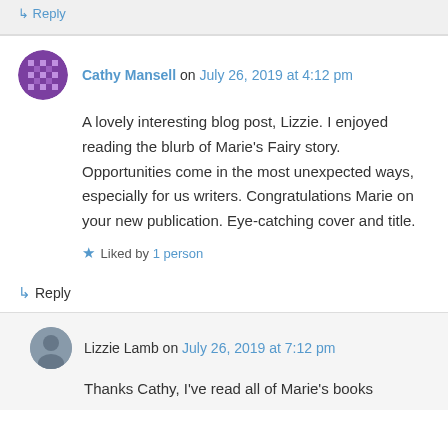↳ Reply
Cathy Mansell on July 26, 2019 at 4:12 pm
A lovely interesting blog post, Lizzie. I enjoyed reading the blurb of Marie's Fairy story. Opportunities come in the most unexpected ways, especially for us writers. Congratulations Marie on your new publication. Eye-catching cover and title.
★ Liked by 1 person
↳ Reply
Lizzie Lamb on July 26, 2019 at 7:12 pm
Thanks Cathy, I've read all of Marie's books